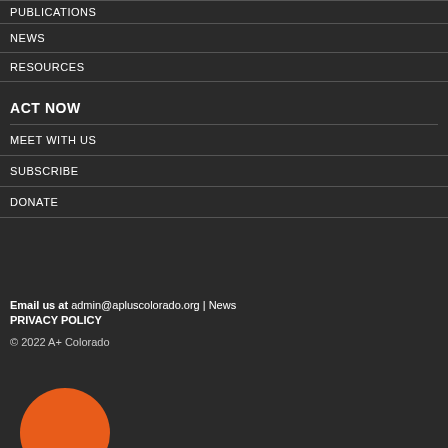PUBLICATIONS
NEWS
RESOURCES
ACT NOW
MEET WITH US
SUBSCRIBE
DONATE
Email us at admin@apluscolorado.org | News
PRIVACY POLICY
© 2022 A+ Colorado